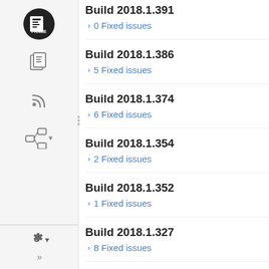Build 2018.1.391
0 Fixed issues
Build 2018.1.386
5 Fixed issues
Build 2018.1.374
6 Fixed issues
Build 2018.1.354
2 Fixed issues
Build 2018.1.352
1 Fixed issues
Build 2018.1.327
8 Fixed issues
Build 2018.1.321